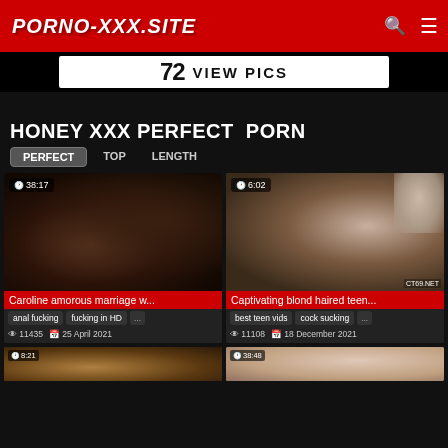PORNO-XXX.SITE
[Figure (screenshot): Banner advertisement showing '72 VIEW PICS' on white background]
HONEY XXX PERFECT  PORN
PERFECT  TOP  LENGTH
[Figure (photo): Video thumbnail - dark close-up with duration badge 38:17]
Caroline amorous marriage w...
anal fucking  fucking in HD  ...
11435  25 April 2021
[Figure (photo): Video thumbnail - teen scene with duration badge 6:02, watermark CT69.NET]
Captivating blond haired teen...
best teen vids  cock sucking  ...
11108  18 December 2021
[Figure (photo): Partial video thumbnail bottom left with duration 8:21]
[Figure (photo): Partial video thumbnail bottom right with duration 38:48]